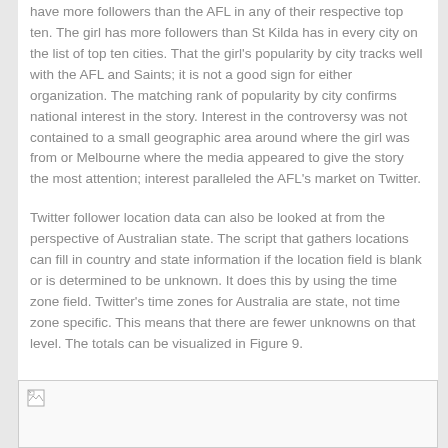have more followers than the AFL in any of their respective top ten. The girl has more followers than St Kilda has in every city on the list of top ten cities. That the girl's popularity by city tracks well with the AFL and Saints; it is not a good sign for either organization. The matching rank of popularity by city confirms national interest in the story. Interest in the controversy was not contained to a small geographic area around where the girl was from or Melbourne where the media appeared to give the story the most attention; interest paralleled the AFL's market on Twitter.
Twitter follower location data can also be looked at from the perspective of Australian state. The script that gathers locations can fill in country and state information if the location field is blank or is determined to be unknown. It does this by using the time zone field. Twitter's time zones for Australia are state, not time zone specific. This means that there are fewer unknowns on that level. The totals can be visualized in Figure 9.
[Figure (other): Placeholder image box at bottom of page representing Figure 9, shown as a broken/loading image icon in a bordered box]